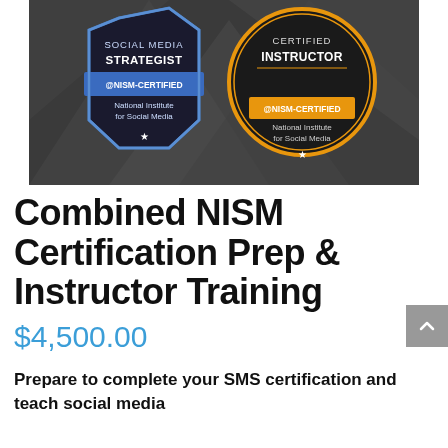[Figure (illustration): Two NISM certification badges on dark gray geometric background. Left badge: blue hexagonal/shield shape with 'SOCIAL MEDIA STRATEGIST' text, blue ribbon banner reading '@NISM-CERTIFIED', 'National Institute for Social Media', and a star. Right badge: orange circular shape with 'CERTIFIED INSTRUCTOR' text, orange ribbon reading '@NISM-CERTIFIED', 'National Institute for Social Media', and a star.]
Combined NISM Certification Prep & Instructor Training
$4,500.00
Prepare to complete your SMS certification and teach social media